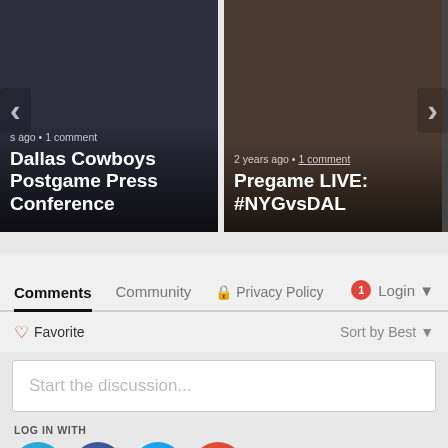[Figure (screenshot): Two video thumbnails in a carousel. Left: Dallas Cowboys Postgame Press Conference (with text overlay and arrow). Right: Pregame LIVE: #NYGvsDAL, 2 years ago · 1 comment. Navigation arrows visible on sides.]
Comments   Community   🔒 Privacy Policy   🔴1   Login ▾
♡ Favorite   Sort by Best ▾
Start the discussion...
LOG IN WITH
[Figure (logo): Four social login icons: Disqus (D, blue), Facebook (f, dark blue), Twitter (bird, light blue), Google (G, red)]
OR SIGN UP WITH DISQUS ?
[Figure (infographic): Four share icons in circles: Facebook f, Twitter bird, email envelope, link chain]